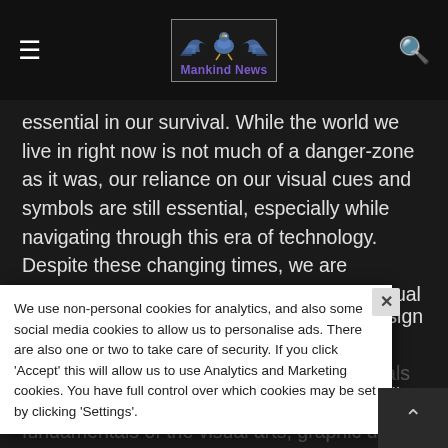Mankind News
essential in our survival. While the world we live in right now is not much of a danger-zone as it was, our reliance on our visual cues and symbols are still essential, especially while navigating through this era of technology. Despite these changing times, we are nonetheless highly attuned to relying on visual elements to navigate through the world.
This phenomenon in us is what graphic design is also aiming to harness. Aside from the creation of visuals in respect to the fundamentals of the visual arts, graphic design also considers and studies the psychological aspects of how we use these culture symbols in communications. Graphic design is concerned with how visual elements are created, arranged and constructed.
We use non-personal cookies for analytics, and also some social media cookies to allow us to personalise ads. There are also one or two to take care of security. If you click 'Accept' this will allow us to use Analytics and Marketing cookies. You have full control over which cookies may be set by clicking 'Settings'.
For instance, when we study and learn, while reading text can